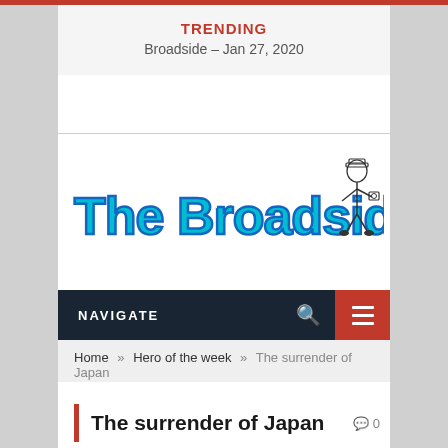TRENDING
Broadside – Jan 27, 2020
[Figure (logo): The Broadside Blog logo — large cyan bold text 'The Broadside Blog' with dark blue outline, accompanied by a small cartoon illustration of a figure (newsboy or reporter) in black and white on the right side]
NAVIGATE
Home » Hero of the week » The surrender of Japan
The surrender of Japan